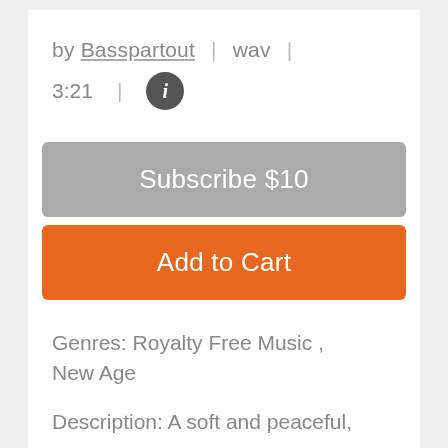by Basspartout  |  wav  |
3:21  |  ℹ
Subscribe $10
Add to Cart
Genres: Royalty Free Music , New Age
Description: A soft and peaceful,